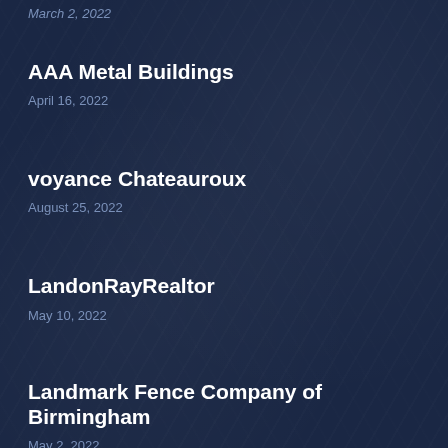March 2, 2022
AAA Metal Buildings
April 16, 2022
voyance Chateauroux
August 25, 2022
LandonRayRealtor
May 10, 2022
Landmark Fence Company of Birmingham
May 2, 2022
Easy Life Boba Tea
May 28, 2022